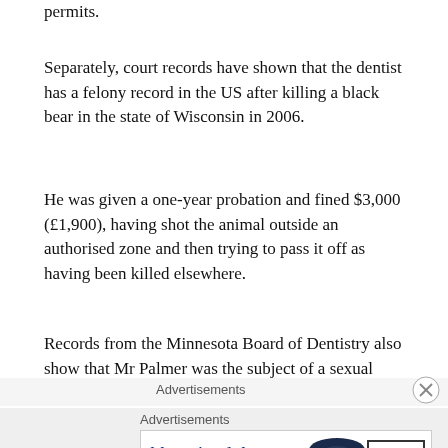permits.
Separately, court records have shown that the dentist has a felony record in the US after killing a black bear in the state of Wisconsin in 2006.
He was given a one-year probation and fined $3,000 (£1,900), having shot the animal outside an authorised zone and then trying to pass it off as having been killed elsewhere.
Records from the Minnesota Board of Dentistry also show that Mr Palmer was the subject of a sexual harassment complaint which was settled in 2006.
Advertisements
Advertisements
[Figure (other): Bloomingdale's advertisement banner: logo text 'bloomingdales', tagline 'View Today's Top Deals!', woman wearing large hat, Shop Now button]